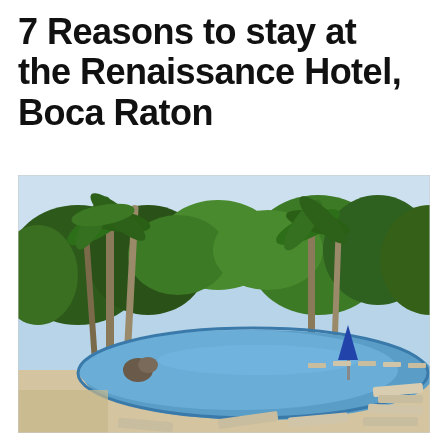7 Reasons to stay at the Renaissance Hotel, Boca Raton
[Figure (photo): Outdoor hotel pool surrounded by palm trees and lush greenery. Lounge chairs are arranged around the curved pool deck. A blue umbrella is visible near the pool. A circular badge overlay reads 'Labor Day Weekend Boca Raton'.]